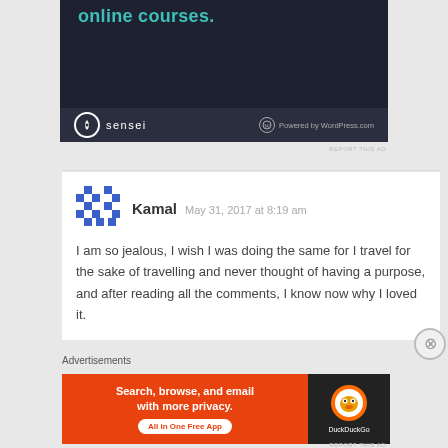[Figure (screenshot): Top advertisement banner for Sensei online courses with dark background, teal text 'online courses.' and Sensei logo with WordPress.com branding]
REPORT THIS AD
[Figure (screenshot): User comment by Kamal dated May 31, 2017 at 8:19 am with pixel avatar icon]
I am so jealous, I wish I was doing the same for I travel for the sake of travelling and never thought of having a purpose, and after reading all the comments, I know now why I loved it.
Advertisements
[Figure (screenshot): DuckDuckGo advertisement banner: orange left side with 'Search, browse, and email with more privacy. All in One Free App' and dark right side with DuckDuckGo logo]